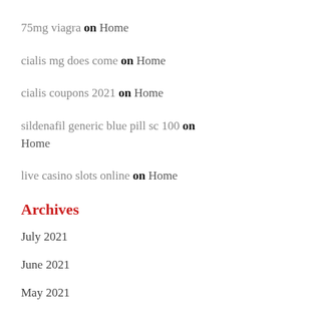75mg viagra on Home
cialis mg does come on Home
cialis coupons 2021 on Home
sildenafil generic blue pill sc 100 on Home
live casino slots online on Home
Archives
July 2021
June 2021
May 2021